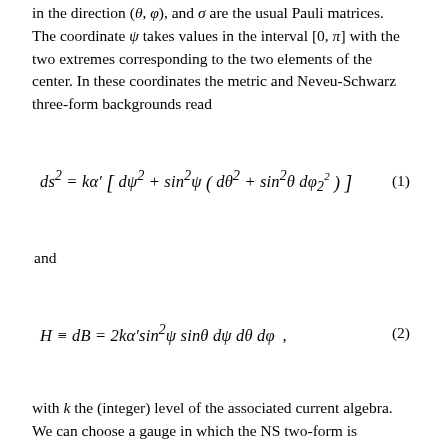in the direction (θ,φ), and σ are the usual Pauli matrices. The coordinate ψ takes values in the interval [0, π] with the two extremes corresponding to the two elements of the center. In these coordinates the metric and Neveu-Schwarz three-form backgrounds read
and
with k the (integer) level of the associated current algebra. We can choose a gauge in which the NS two-form is proportional to the volume form of the two-sphere spanned